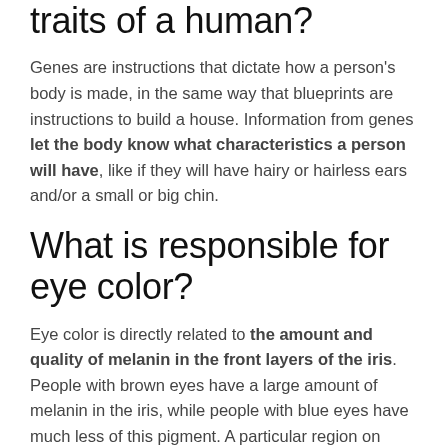traits of a human?
Genes are instructions that dictate how a person's body is made, in the same way that blueprints are instructions to build a house. Information from genes let the body know what characteristics a person will have, like if they will have hairy or hairless ears and/or a small or big chin.
What is responsible for eye color?
Eye color is directly related to the amount and quality of melanin in the front layers of the iris. People with brown eyes have a large amount of melanin in the iris, while people with blue eyes have much less of this pigment. A particular region on chromosome 15 plays a major role in eye color.